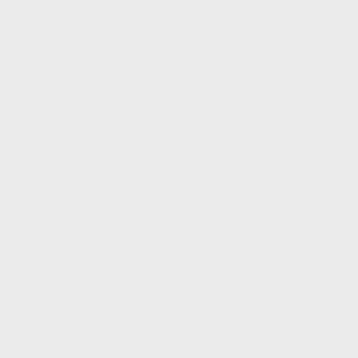Julie, I wrote a rather long comment then made an error. I ended up with a few letters that